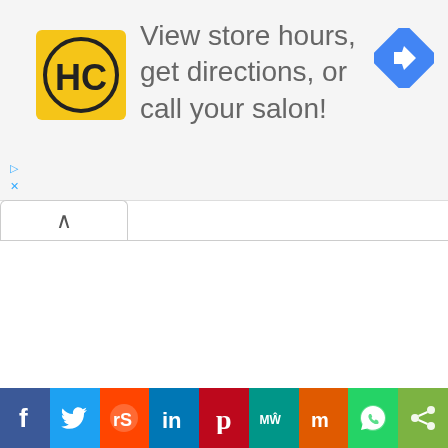[Figure (screenshot): Advertisement banner with HC (Hair Club) yellow logo on left, text 'View store hours, get directions, or call your salon!' in center, blue navigation diamond icon on right]
[Figure (screenshot): Social media share bar at bottom with Facebook, Twitter, Reddit, LinkedIn, Pinterest, MeWe, Mix, WhatsApp, and generic share buttons]